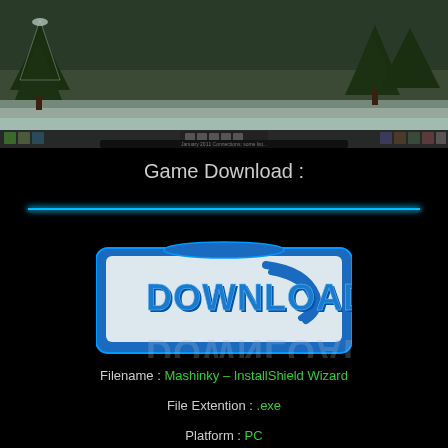[Figure (screenshot): Game screenshot showing a snowy winter landscape with pine trees and a game UI/taskbar at the bottom]
Game Download :
[Figure (illustration): Download button with blue border and 3D blue DOWNLOAD text with wave/arc logo graphic on a light grey background]
Filename : Mashinky – InstallShield Wizard
File Extention : .exe
Platform : PC